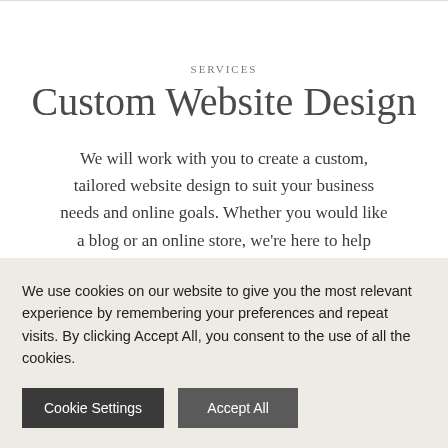SERVICES
Custom Website Design
We will work with you to create a custom, tailored website design to suit your business needs and online goals. Whether you would like a blog or an online store, we're here to help.
We use cookies on our website to give you the most relevant experience by remembering your preferences and repeat visits. By clicking Accept All, you consent to the use of all the cookies.